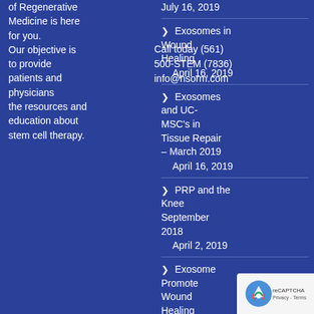of Regenerative Medicine is here for you. Our objective is to provide patients and physicians the resources and education about stem cell therapy.
Call today (561) 500-STEM (7836)
info@nsorm.com
Exosomes in Wound Healing
April 16, 2019
Exosomes and UC-MSC's in Tissue Repair – March 2019
April 16, 2019
PRP and the Knee September 2018
April 2, 2019
Exosomes Promote Wound Healing